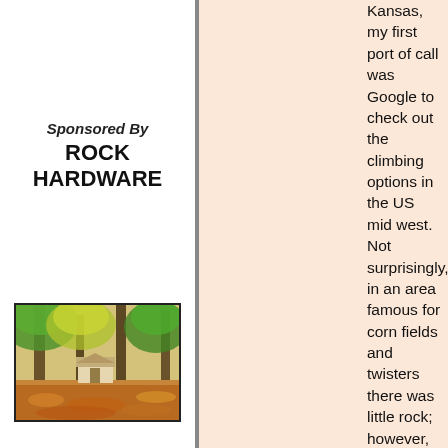Sponsored By
ROCK HARDWARE
[Figure (photo): Autumn forest scene with tall trees with green and yellow foliage, fallen orange leaves on the ground, and a wooden structure/barn visible in the background.]
Kansas, my first port of call was Google to check out the climbing options in the US mid west. Not surprisingly, in an area famous for corn fields and twisters there was little rock; however, further south in Arkansas was Horseshoe Canyon Ranch - a working dude ranch graced with excellent single pitch sport (and some trad) climbing and bouldering on high quality sandstone. I had a destination, a partner and fellow work-mate (thanks Ken) and good weather. We gave ourselves an early knock off on